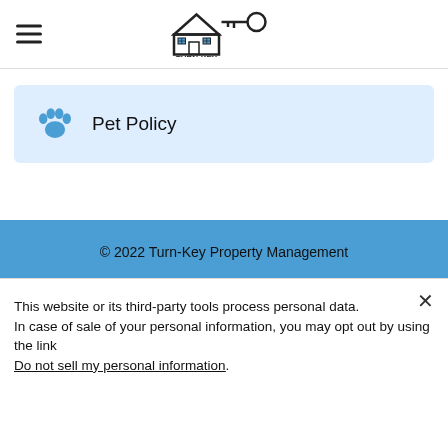[Figure (logo): Turn-Key Property Management logo with house and key icon]
Pet Policy
© 2022 Turn-Key Property Management
This website or its third-party tools process personal data.
In case of sale of your personal information, you may opt out by using the link
Do not sell my personal information.